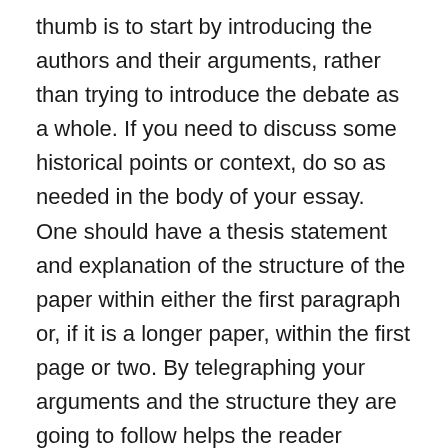thumb is to start by introducing the authors and their arguments, rather than trying to introduce the debate as a whole. If you need to discuss some historical points or context, do so as needed in the body of your essay. One should have a thesis statement and explanation of the structure of the paper within either the first paragraph or, if it is a longer paper, within the first page or two. By telegraphing your arguments and the structure they are going to follow helps the reader understand your essay the first time through. Your goal should be to accomplish these three things by the end of your introduction: 1) Introduce the audience to the general subject. 2) State a specific problem/question that the paper aims to address.  3) State a clear, explicit statement of the solution/answer to the problem/question (i.e. thesis statement).